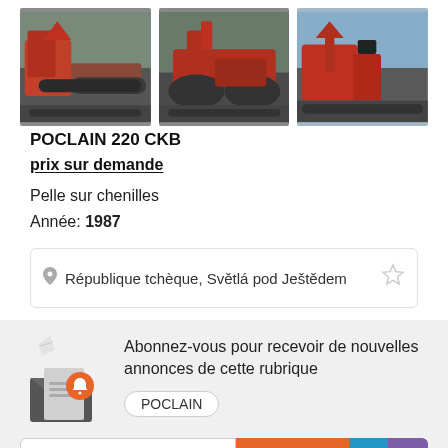[Figure (photo): Three photos of a red Poclain 220 CKB tracked excavator from different angles]
POCLAIN 220 CKB
prix sur demande
Pelle sur chenilles
Année: 1987
République tchèque, Světlá pod Ještědem
Abonnez-vous pour recevoir de nouvelles annonces de cette rubrique
POCLAIN
Veuillez saisir votre adres
S'abonner